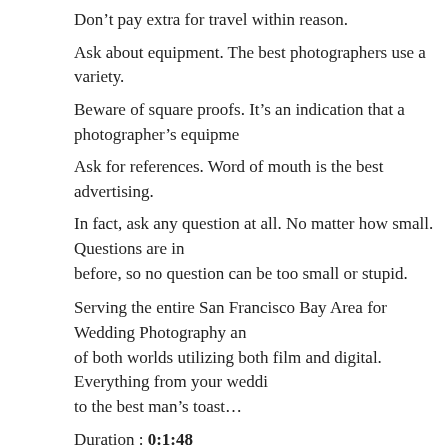Don't pay extra for travel within reason.
Ask about equipment. The best photographers use a variety.
Beware of square proofs. It's an indication that a photographer's equipment…
Ask for references. Word of mouth is the best advertising.
In fact, ask any question at all. No matter how small. Questions are in… before, so no question can be too small or stupid.
Serving the entire San Francisco Bay Area for Wedding Photography and… of both worlds utilizing both film and digital. Everything from your weddi… to the best man's toast…
Duration : 0:1:48
Read the rest of this entry »
Inexpensive Wedding Photography
08 dec 2009  No Comment  Wedding Cost
At Inexpensive Wedding Photography, we believe… be committed to on your wedding day is your part…